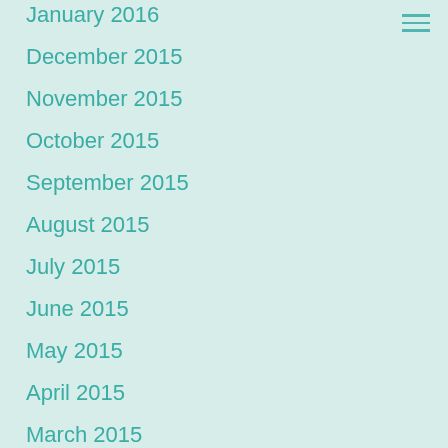January 2016
December 2015
November 2015
October 2015
September 2015
August 2015
July 2015
June 2015
May 2015
April 2015
March 2015
February 2015
January 2015